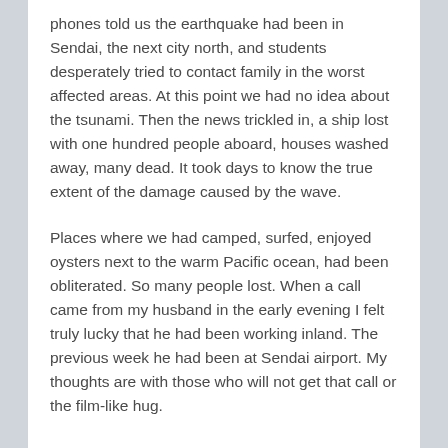phones told us the earthquake had been in Sendai, the next city north, and students desperately tried to contact family in the worst affected areas. At this point we had no idea about the tsunami. Then the news trickled in, a ship lost with one hundred people aboard, houses washed away, many dead. It took days to know the true extent of the damage caused by the wave.
Places where we had camped, surfed, enjoyed oysters next to the warm Pacific ocean, had been obliterated. So many people lost. When a call came from my husband in the early evening I felt truly lucky that he had been working inland. The previous week he had been at Sendai airport. My thoughts are with those who will not get that call or the film-like hug.